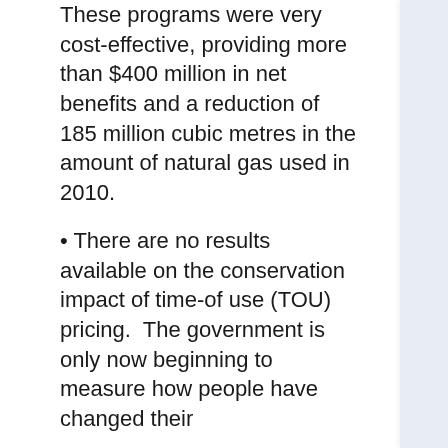These programs were very cost-effective, providing more than $400 million in net benefits and a reduction of 185 million cubic metres in the amount of natural gas used in 2010.
• There are no results available on the conservation impact of time-of use (TOU) pricing.  The government is only now beginning to measure how people have changed their...